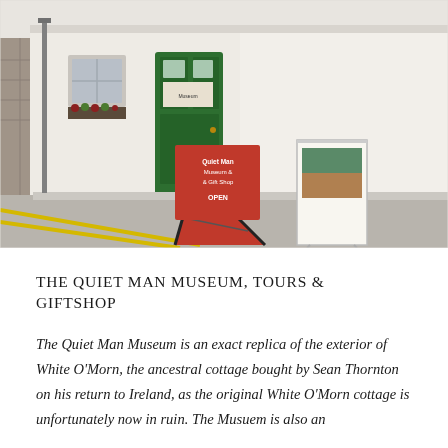[Figure (photo): Exterior photo of The Quiet Man Museum, a whitewashed stone cottage with a green door, flower boxes, an orange A-frame sandwich board sign reading 'Quiet Man Museum & Gift Shop OPEN', a second standing display sign, and a directional sign on the wall pointing left. A road with yellow lines is visible in the foreground.]
THE QUIET MAN MUSEUM, TOURS & GIFTSHOP
The Quiet Man Museum is an exact replica of the exterior of White O'Morn, the ancestral cottage bought by Sean Thornton on his return to Ireland, as the original White O'Morn cottage is unfortunately now in ruin. The Musuem is also an